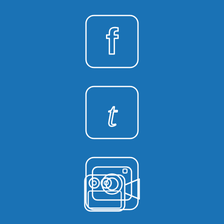[Figure (logo): Facebook social media icon - white rounded square outline with letter f]
[Figure (logo): Tumblr social media icon - white rounded square outline with letter t]
[Figure (logo): Instagram social media icon - white rounded square outline with camera lens]
[Figure (logo): Video camera / Vimeo social media icon - white rounded square outline with video camera]